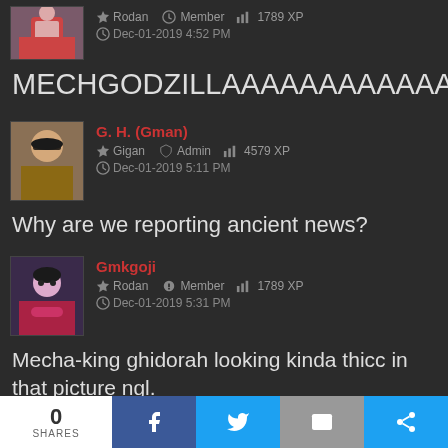Rodan   Member   1789 XP   Dec-01-2019 4:52 PM
MECHGODZILLAAAAAAAAAAAAAAAAAAA!
G. H. (Gman)   Gigan   Admin   4579 XP   Dec-01-2019 5:11 PM
Why are we reporting ancient news?
Gmkgoji   Rodan   Member   1789 XP   Dec-01-2019 5:31 PM
Mecha-king ghidorah looking kinda thicc in that picture ngl.
0 SHARES